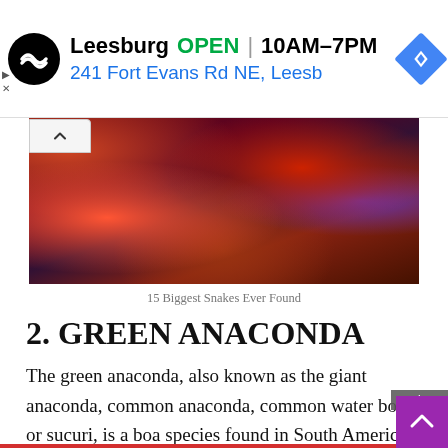[Figure (screenshot): Advertisement banner for a store in Leesburg showing OPEN status, hours 10AM-7PM, address 241 Fort Evans Rd NE, Leesb, with a black circular logo and blue navigation diamond icon]
[Figure (photo): Close-up photograph of a large snake resting on reddish-brown rocky terrain. The snake skin is visible at the right edge.]
15 Biggest Snakes Ever Found
2. GREEN ANACONDA
The green anaconda, also known as the giant anaconda, common anaconda, common water boa or sucuri, is a boa species found in South America. It is the heaviest and one of the longest known extant snake species. Like all boas, it is a non-venomous constrictor